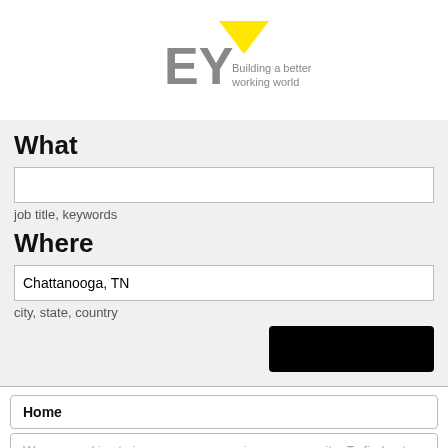[Figure (logo): EY logo — yellow chevron shape above grey letters 'EY' with tagline 'Building a better working world']
What
job title, keywords
Where
Chattanooga, TN
city, state, country
Home
We use cookies to improve your experience on our site. To find out more, read our privacy policy.
View All Jobs (22,018)
Accept